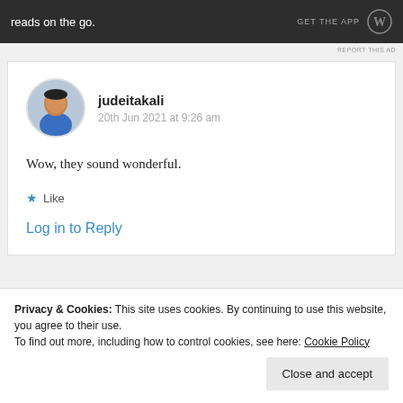[Figure (screenshot): Dark ad banner at the top with text 'reads on the go.' on the left and 'GET THE APP' with WordPress logo on the right]
REPORT THIS AD
judeitakali
20th Jun 2021 at 9:26 am
Wow, they sound wonderful.
Like
Log in to Reply
Privacy & Cookies: This site uses cookies. By continuing to use this website, you agree to their use.
To find out more, including how to control cookies, see here: Cookie Policy